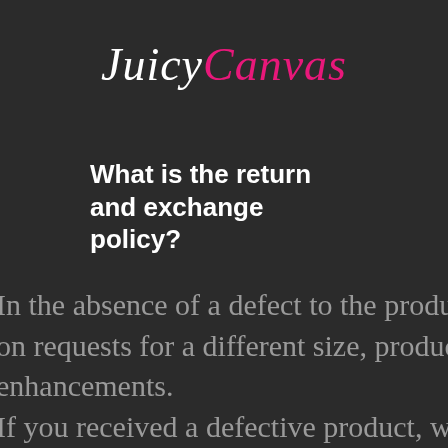[Figure (logo): JuicyCanvas logo with 'Juicy' in white italic script and 'Canvas' in pink italic script]
What is the return and exchange policy?
In the absence of a defect to the produ on requests for a different size, produc enhancements. If you received a defective product, w For Stretched Canvas: You'll need to d and mail it back to us.